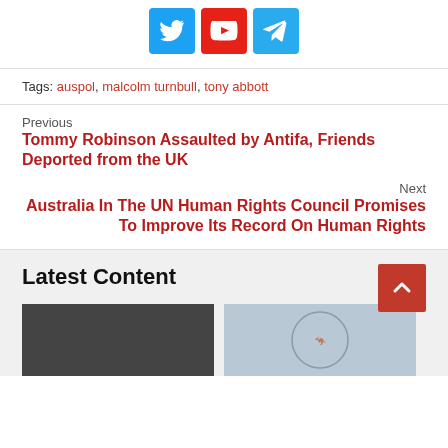[Figure (other): Social media icons: Twitter (blue), YouTube (red), Telegram (blue)]
Tags: auspol, malcolm turnbull, tony abbott
Previous
Tommy Robinson Assaulted by Antifa, Friends Deported from the UK
Next
Australia In The UN Human Rights Council Promises To Improve Its Record On Human Rights
Latest Content
[Figure (photo): Dark/grayscale thumbnail image on the left]
[Figure (photo): Gray thumbnail with Australian coat of arms on the right]